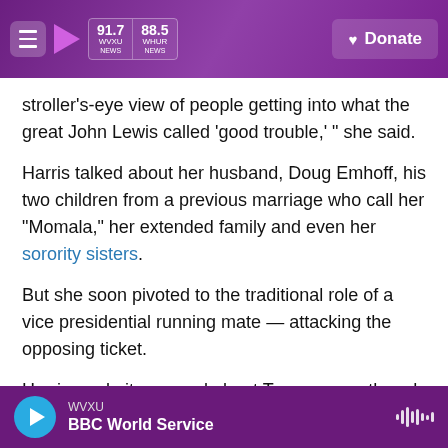91.7 WVXU NEWS | 88.5 WHUR NEWS | Donate
stroller's-eye view of people getting into what the great John Lewis called 'good trouble,' " she said.
Harris talked about her husband, Doug Emhoff, his two children from a previous marriage who call her "Momala," her extended family and even her sorority sisters.
But she soon pivoted to the traditional role of a vice presidential running mate — attacking the opposing ticket.
Harris made it personal about Trump, even though her hardest-hitting lines didn't explicitly mention his
WVXU | BBC World Service